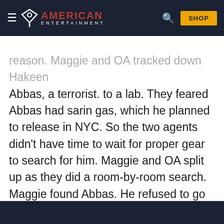AMERICAN ENTERTAINMENT
reason. Maggie and OA tracked down Hakeen Abbas, a terrorist. to a lab. They feared Abbas had sarin gas, which he planned to release in NYC. So the two agents didn't have time to wait for proper gear to search for him. Maggie and OA split up as they did a room-by-room search. Maggie found Abbas. He refused to go peacefully. As he tried to flee, he knocked over a cannister of the gas. Maggie killed Abbas and tried to keep the gas from leaking. Within moments, the door to the room was